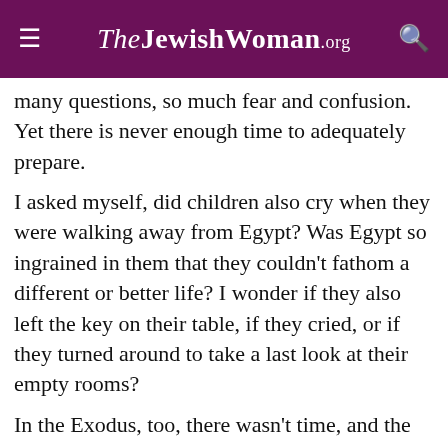TheJewishWoman.org
many questions, so much fear and confusion. Yet there is never enough time to adequately prepare.
I asked myself, did children also cry when they were walking away from Egypt? Was Egypt so ingrained in them that they couldn't fathom a different or better life? I wonder if they also left the key on their table, if they cried, or if they turned around to take a last look at their empty rooms?
In the Exodus, too, there wasn't time, and the bread did not rise. Matzah has become an eternal symbol of unconditional commitment and dedication to freedom.
In leaving our home, I envisioned…